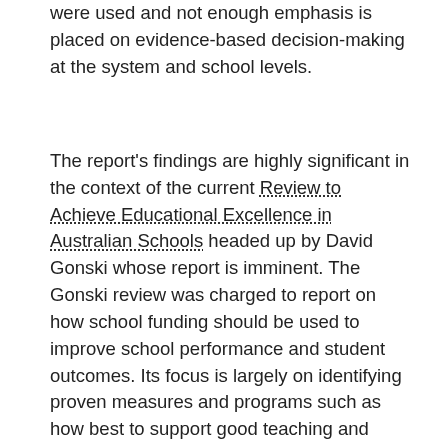were used and not enough emphasis is placed on evidence-based decision-making at the system and school levels.
The report's findings are highly significant in the context of the current Review to Achieve Educational Excellence in Australian Schools headed up by David Gonski whose report is imminent. The Gonski review was charged to report on how school funding should be used to improve school performance and student outcomes. Its focus is largely on identifying proven measures and programs such as how best to support good teaching and school leadership, parent engagement in learning and sharing good practice.